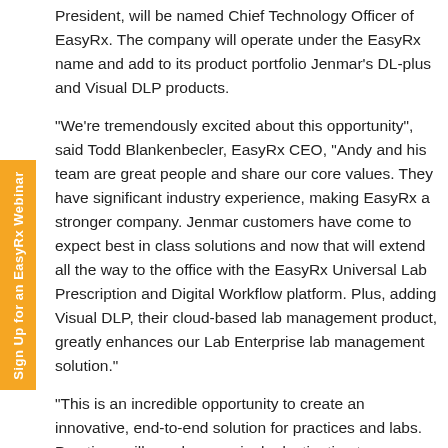President, will be named Chief Technology Officer of EasyRx. The company will operate under the EasyRx name and add to its product portfolio Jenmar's DL-plus and Visual DLP products.
“We’re tremendously excited about this opportunity”, said Todd Blankenbecler, EasyRx CEO, “Andy and his team are great people and share our core values. They have significant industry experience, making EasyRx a stronger company. Jenmar customers have come to expect best in class solutions and now that will extend all the way to the office with the EasyRx Universal Lab Prescription and Digital Workflow platform. Plus, adding Visual DLP, their cloud-based lab management product, greatly enhances our Lab Enterprise lab management solution.”
“This is an incredible opportunity to create an innovative, end-to-end solution for practices and labs. Practices will now have a single destination to manage prescriptions and supporting digital files and images, integrated with their lab management software, a single platform to manage the entire production workflow.”, adds Andy Stark.
The EasyRx Universal Lab Prescription and Digital Workflow platform is